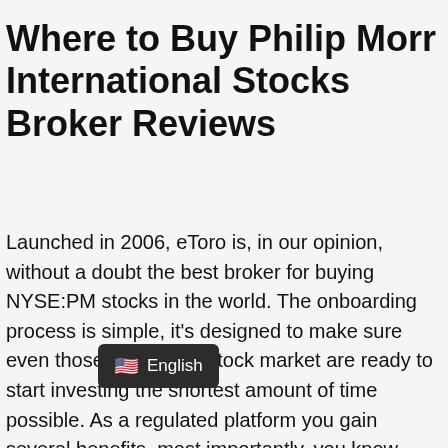Where to Buy Philip Morr International Stocks Broker Reviews
Launched in 2006, eToro is, in our opinion, without a doubt the best broker for buying NYSE:PM stocks in the world. The onboarding process is simple, it's designed to make sure even those new to the stock market are ready to start investing the shortest amount of time possible. As a regulated platform you gain several benefits, most importantly, you know they're not going to run off with your hard-earned money./
English (language badge)